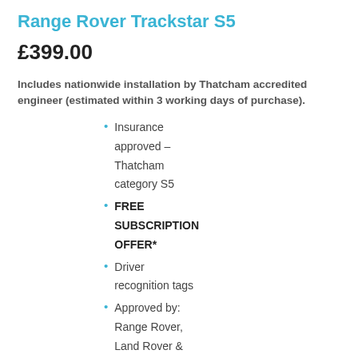Range Rover Trackstar S5
£399.00
Includes nationwide installation by Thatcham accredited engineer (estimated within 3 working days of purchase).
Insurance approved – Thatcham category S5
FREE SUBSCRIPTION OFFER*
Driver recognition tags
Approved by: Range Rover, Land Rover & Jaguar.